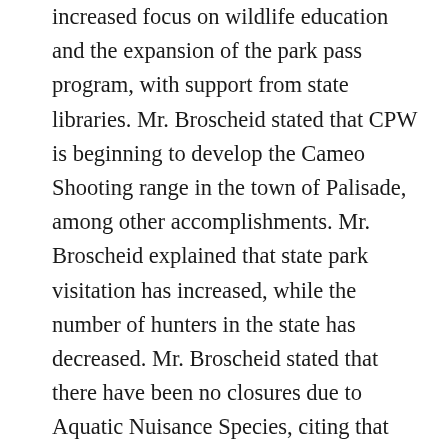increased focus on wildlife education and the expansion of the park pass program, with support from state libraries. Mr. Broscheid stated that CPW is beginning to develop the Cameo Shooting range in the town of Palisade, among other accomplishments. Mr. Broscheid explained that state park visitation has increased, while the number of hunters in the state has decreased. Mr. Broscheid stated that there have been no closures due to Aquatic Nuisance Species, citing that figure to the success of CPW's Aquatic Nuisance Species Management Program. Mr. Broscheid responded to questions from the committee regarding legislation concerning sea planes, as they relate to the ANS management program and discussed species conservation in the state. Committee discussion ensued regarding